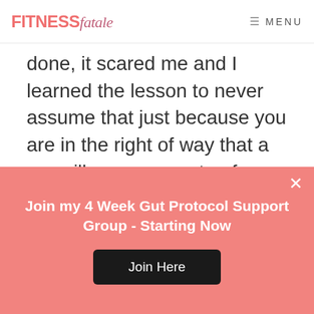FITNESSfatale  ☰ MENU
done, it scared me and I learned the lesson to never assume that just because you are in the right of way that a car will see you or stop for you.
Although I was relieved when the
Join my 4 Week Gut Protocol Support Group - Starting Now
Join Here